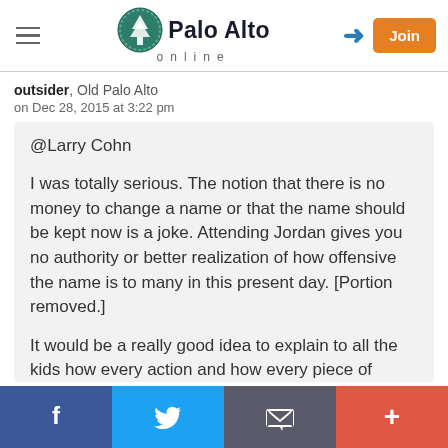[Figure (logo): Palo Alto Online logo with circular tree icon and 'online' in letterspace beneath]
outsider, Old Palo Alto
on Dec 28, 2015 at 3:22 pm
@Larry Cohn

I was totally serious. The notion that there is no money to change a name or that the name should be kept now is a joke. Attending Jordan gives you no authority or better realization of how offensive the name is to many in this present day. [Portion removed.]

It would be a really good idea to explain to all the kids how every action and how every piece of writing gets attached to names. With the social
f  [Twitter bird]  [Email icon]  +